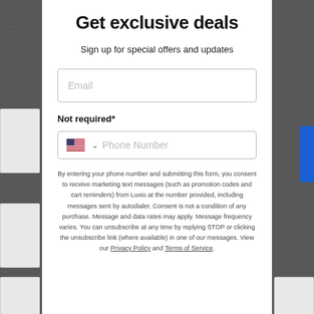Get exclusive deals
Sign up for special offers and updates
Email
Not required*
Phone Number
By entering your phone number and submitting this form, you consent to receive marketing text messages (such as promotion codes and cart reminders) from Luxio at the number provided, including messages sent by autodialer. Consent is not a condition of any purchase. Message and data rates may apply. Message frequency varies. You can unsubscribe at any time by replying STOP or clicking the unsubscribe link (where available) in one of our messages. View our Privacy Policy and Terms of Service.